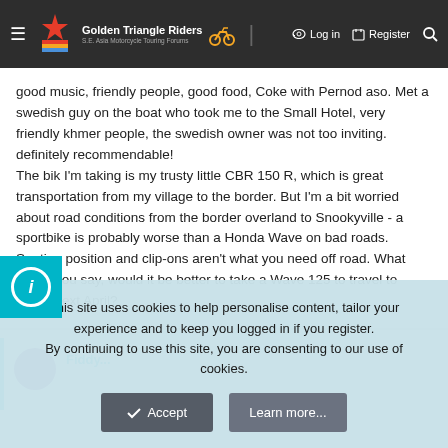Golden Triangle Riders — S.E. Asia Motorcycle Touring Forums | Log in | Register
good music, friendly people, good food, Coke with Pernod aso. Met a swedish guy on the boat who took me to the Small Hotel, very friendly khmer people, the swedish owner was not too inviting. definitely recommendable!
The bik I'm taking is my trusty little CBR 150 R, which is great transportation from my village to the border. But I'm a bit worried about road conditions from the border overland to Snookyville - a sportbike is probably worse than a Honda Wave on bad roads. Seating position and clip-ons aren't what you need off road. What would you say, would it be better to take a Wave 125 to travel to S'ville next April?
Fiddy...
This site uses cookies to help personalise content, tailor your experience and to keep you logged in if you register.
By continuing to use this site, you are consenting to our use of cookies.